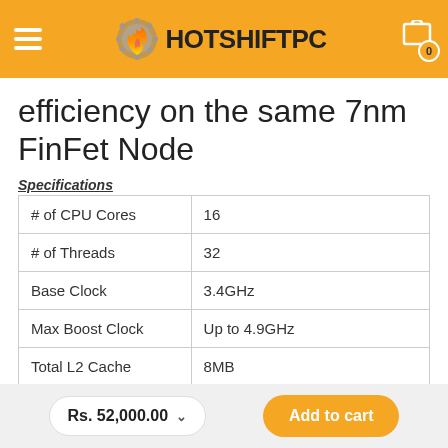HOTSHIFTPC
efficiency on the same 7nm FinFet Node
Specifications
| Specification | Value |
| --- | --- |
| # of CPU Cores | 16 |
| # of Threads | 32 |
| Base Clock | 3.4GHz |
| Max Boost Clock | Up to 4.9GHz |
| Total L2 Cache | 8MB |
Rs. 52,000.00  Add to cart